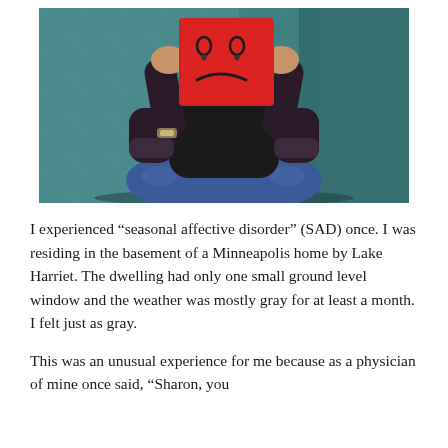[Figure (photo): A person sitting cross-legged holding a red square paper with a hand-drawn sad face (frowning expression) in front of their face, against a teal/green textured wall background. Person is wearing a black top and blue jeans.]
I experienced “seasonal affective disorder” (SAD) once. I was residing in the basement of a Minneapolis home by Lake Harriet. The dwelling had only one small ground level window and the weather was mostly gray for at least a month. I felt just as gray.
This was an unusual experience for me because as a physician of mine once said, “Sharon, you